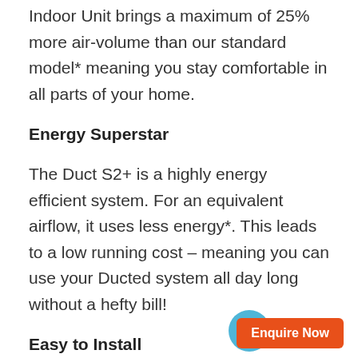Indoor Unit brings a maximum of 25% more air-volume than our standard model* meaning you stay comfortable in all parts of your home.
Energy Superstar
The Duct S2+ is a highly energy efficient system. For an equivalent airflow, it uses less energy*. This leads to a low running cost – meaning you can use your Ducted system all day long without a hefty bill!
Easy to Install
Our Duct S2+ Indoor Units are designed to meet the needs of Australian homes. A lightweight design with a quality finish makes the Duct S2+ easy